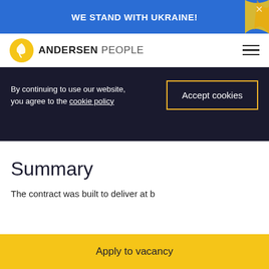WE STAND WITH UKRAINE!
[Figure (logo): Andersen People logo with yellow sun/leaf icon and text ANDERSEN PEOPLE]
By continuing to use our website, you agree to the cookie policy
Accept cookies
Summary
The contract was built to deliver at b...
Apply to vacancy